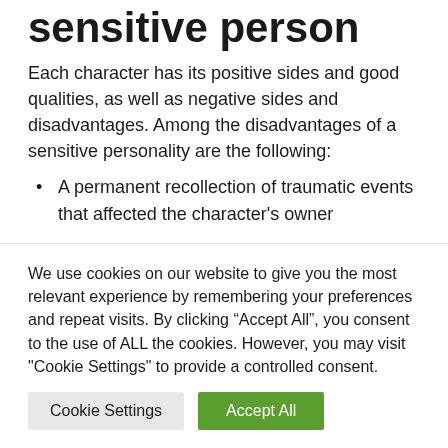sensitive person
Each character has its positive sides and good qualities, as well as negative sides and disadvantages. Among the disadvantages of a sensitive personality are the following:
A permanent recollection of traumatic events that affected the character's owner
We use cookies on our website to give you the most relevant experience by remembering your preferences and repeat visits. By clicking “Accept All”, you consent to the use of ALL the cookies. However, you may visit "Cookie Settings" to provide a controlled consent.